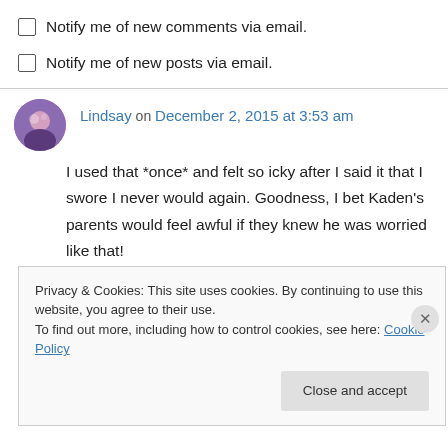Notify me of new comments via email.
Notify me of new posts via email.
Lindsay on December 2, 2015 at 3:53 am
I used that *once* and felt so icky after I said it that I swore I never would again. Goodness, I bet Kaden’s parents would feel awful if they knew he was worried like that!
Privacy & Cookies: This site uses cookies. By continuing to use this website, you agree to their use.
To find out more, including how to control cookies, see here: Cookie Policy
Close and accept